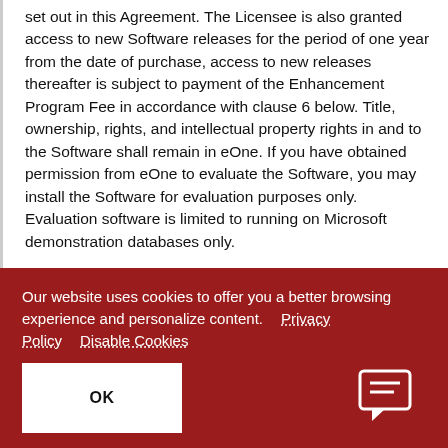set out in this Agreement. The Licensee is also granted access to new Software releases for the period of one year from the date of purchase, access to new releases thereafter is subject to payment of the Enhancement Program Fee in accordance with clause 6 below. Title, ownership, rights, and intellectual property rights in and to the Software shall remain in eOne. If you have obtained permission from eOne to evaluate the Software, you may install the Software for evaluation purposes only. Evaluation software is limited to running on Microsoft demonstration databases only.
Our website uses cookies to offer you a better browsing experience and personalize content. Privacy Policy Disable Cookies
OK